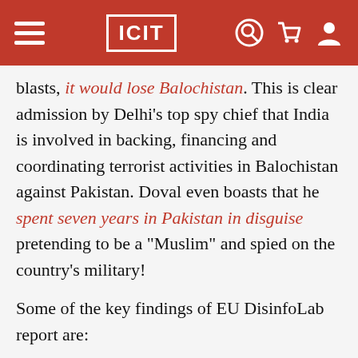ICIT
blasts, it would lose Balochistan. This is clear admission by Delhi’s top spy chief that India is involved in backing, financing and coordinating terrorist activities in Balochistan against Pakistan. Doval even boasts that he spent seven years in Pakistan in disguise pretending to be a “Muslim” and spied on the country’s military!
Some of the key findings of EU DisinfoLab report are:
1: Several identity thefts, including the name...